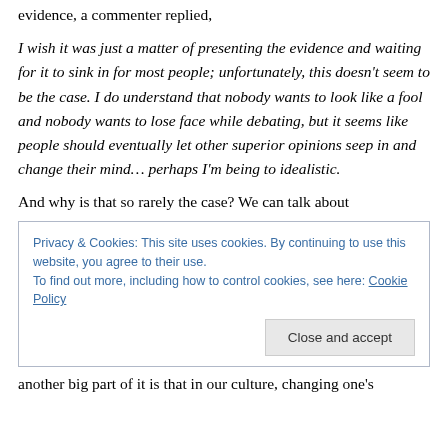evidence, a commenter replied,
I wish it was just a matter of presenting the evidence and waiting for it to sink in for most people; unfortunately, this doesn't seem to be the case. I do understand that nobody wants to look like a fool and nobody wants to lose face while debating, but it seems like people should eventually let other superior opinions seep in and change their mind… perhaps I'm being to idealistic.
And why is that so rarely the case? We can talk about
Privacy & Cookies: This site uses cookies. By continuing to use this website, you agree to their use.
To find out more, including how to control cookies, see here: Cookie Policy
Close and accept
another big part of it is that in our culture, changing one's